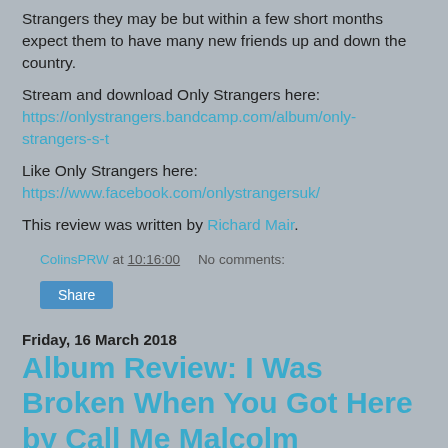Strangers they may be but within a few short months expect them to have many new friends up and down the country.
Stream and download Only Strangers here: https://onlystrangers.bandcamp.com/album/only-strangers-s-t
Like Only Strangers here: https://www.facebook.com/onlystrangersuk/
This review was written by Richard Mair.
ColinsPRW at 10:16:00   No comments:
Share
Friday, 16 March 2018
Album Review: I Was Broken When You Got Here by Call Me Malcolm